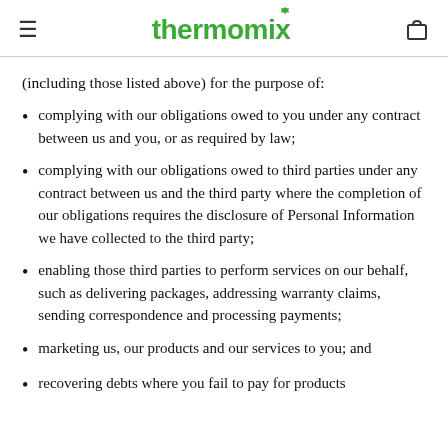thermomix
(including those listed above) for the purpose of:
complying with our obligations owed to you under any contract between us and you, or as required by law;
complying with our obligations owed to third parties under any contract between us and the third party where the completion of our obligations requires the disclosure of Personal Information we have collected to the third party;
enabling those third parties to perform services on our behalf, such as delivering packages, addressing warranty claims, sending correspondence and processing payments;
marketing us, our products and our services to you; and
recovering debts where you fail to pay for products